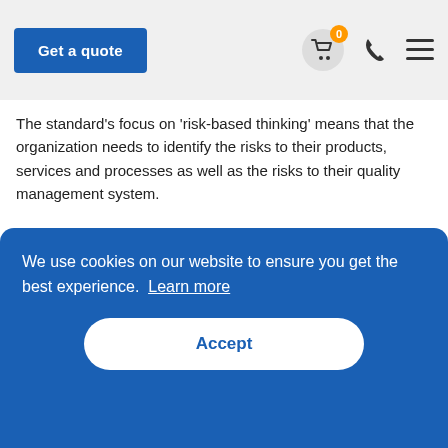Get a quote
The standard's focus on 'risk-based thinking' means that the organization needs to identify the risks to their products, services and processes as well as the risks to their quality management system.
OTHER QUALITY MANAGEMENT TOOLS AND TECHNIQUES
...quality ...aches ...the ...organization
We use cookies on our website to ensure you get the best experience. Learn more
Accept